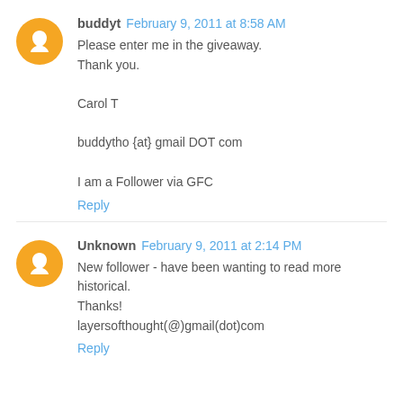buddyt February 9, 2011 at 8:58 AM
Please enter me in the giveaway.
Thank you.

Carol T

buddytho {at} gmail DOT com

I am a Follower via GFC
Reply
Unknown February 9, 2011 at 2:14 PM
New follower - have been wanting to read more historical.
Thanks!
layersofthought(@)gmail(dot)com
Reply